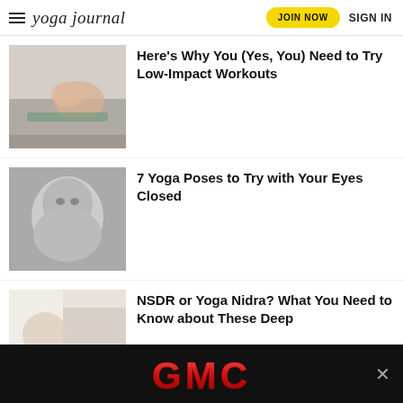yoga journal — JOIN NOW  SIGN IN
[Figure (photo): Woman doing a yoga pose on a mat, wearing pink top and teal leggings]
Here's Why You (Yes, You) Need to Try Low-Impact Workouts
[Figure (photo): Black and white close-up photo of a smiling woman with eyes partially closed]
7 Yoga Poses to Try with Your Eyes Closed
[Figure (photo): Partially visible photo of a person in a relaxed position]
NSDR or Yoga Nidra? What You Need to Know about These Deep
[Figure (photo): GMC advertisement banner with red GMC logo on black background]